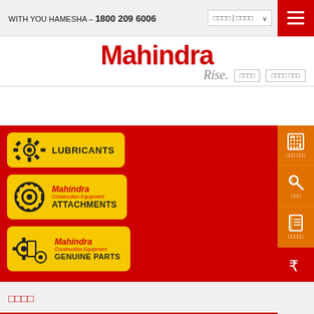WITH YOU HAMESHA – 1800 209 6006
[Figure (logo): Mahindra Rise logo with red Mahindra text and italic Rise tagline]
[Figure (illustration): Mahindra Construction Equipment LUBRICANTS badge with gear icon on yellow background]
[Figure (illustration): Mahindra Construction Equipment ATTACHMENTS badge with gear/ring icon on yellow background]
[Figure (illustration): Mahindra Construction Equipment GENUINE PARTS badge with parts icons on yellow background]
□□□□